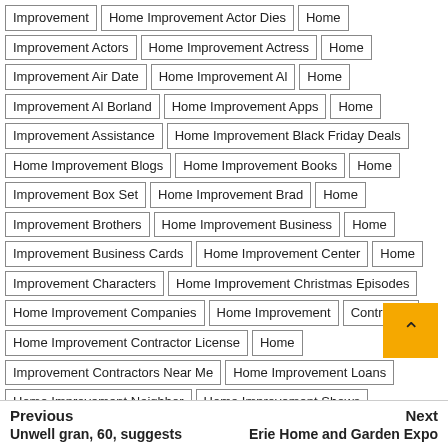Improvement
Home Improvement Actor Dies
Home Improvement Actors
Home Improvement Actress
Home Improvement Air Date
Home Improvement Al
Home Improvement Al Borland
Home Improvement Apps
Home Improvement Assistance
Home Improvement Black Friday Deals
Home Improvement Blogs
Home Improvement Books
Home Improvement Box Set
Home Improvement Brad
Home Improvement Brothers
Home Improvement Business
Home Improvement Business Cards
Home Improvement Center
Home Improvement Characters
Home Improvement Christmas Episodes
Home Improvement Companies
Home Improvement Contractor
Home Improvement Contractor License
Home Improvement Contractors Near Me
Home Improvement Loans
Home Improvement Neighbor
Home Improvement Shows
Home Improvement Stores
Home Improvement Stores Near Me
Home Improvement Streaming
Home Improvement Tv Show
Is Home Improvement A Good Investment
J&B Home Improvement
L&B Home Improvement
R&B Home Improvements
R&C Home Improvement
When A Homeowner Does Home-Improvement Work
Previous
Next
Unwell gran, 60, suggests
Erie Home and Garden Expo